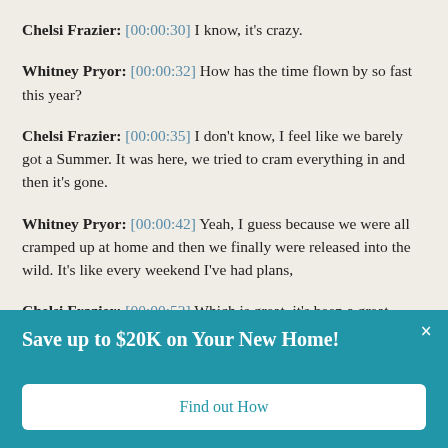Chelsi Frazier: [00:00:30] I know, it's crazy.
Whitney Pryor: [00:00:32] How has the time flown by so fast this year?
Chelsi Frazier: [00:00:35] I don't know, I feel like we barely got a Summer. It was here, we tried to cram everything in and then it's gone.
Whitney Pryor: [00:00:42] Yeah, I guess because we were all cramped up at home and then we finally were released into the wild. It's like every weekend I've had plans,
Chelsi Frazier: [00:00:52] Which is great, it's been a great Summer. It's been really fun, but it's gone and I want it back. It's
Save up to $20K on Your New Home!
Find out How